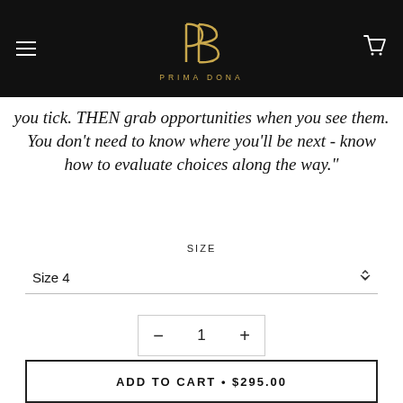PRIMA DONA
you tick. THEN grab opportunities when you see them. You don't need to know where you'll be next - know how to evaluate choices along the way."
SIZE
Size 4
- 1 +
ADD TO CART • $295.00